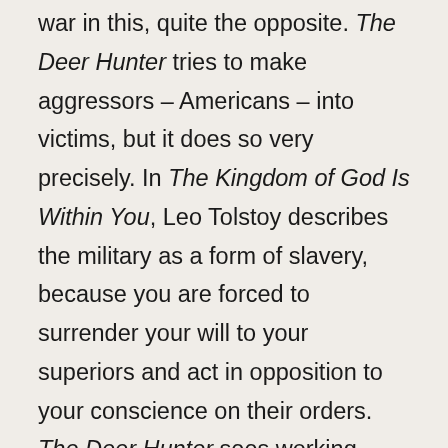war in this, quite the opposite. The Deer Hunter tries to make aggressors – Americans – into victims, but it does so very precisely. In The Kingdom of God Is Within You, Leo Tolstoy describes the military as a form of slavery, because you are forced to surrender your will to your superiors and act in opposition to your conscience on their orders. The Deer Hunter sees working-class American soldiers as victims: young men sent halfway around the world to fight a war that has nothing to do with them and have their lives forever altered. And for what? The film ends with the gang at the bar after Nick's funeral, and they start singing 'God Bless America'. I have no